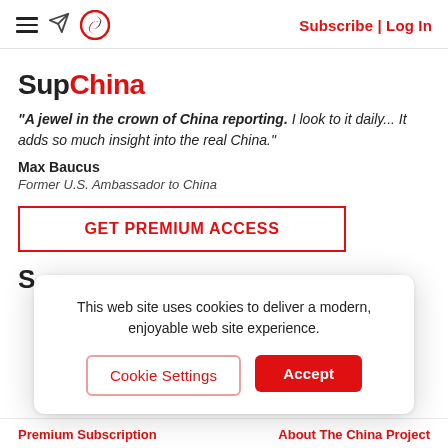SupChina — Subscribe | Log In
SupChina
"A jewel in the crown of China reporting. I look to it daily... It adds so much insight into the real China."
Max Baucus
Former U.S. Ambassador to China
GET PREMIUM ACCESS
S
This web site uses cookies to deliver a modern, enjoyable web site experience.
Cookie Settings
Accept
Premium Subscription   About The China Project